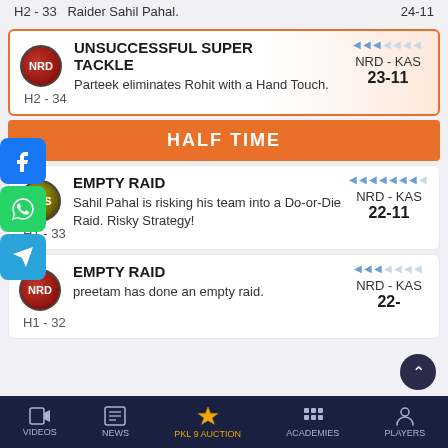H2 - 33   Raider Sahil Pahal.   24-11
UNSUCCESSFUL SUPER TACKLE — Parteek eliminates Rohit with a Hand Touch. H2 - 34 | NRD - KAS 23-11
HALF TIME
EMPTY RAID — Sahil Pahal is risking his team into a Do-or-Die Raid. Risky Strategy! H1 - 33 | NRD - KAS 22-11
EMPTY RAID — preetam has done an empty raid. H1 - 32 | NRD - KAS 22-
VIDEOS | NEWS | PKL 9 AUCTION | ACADEMIES | PLAYERS